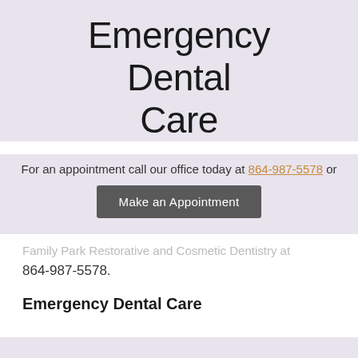Emergency Dental Care
For an appointment call our office today at 864-987-5578 or
Make an Appointment
Family Park Restorative and Cosmetic Dentistry at 864-987-5578.
Emergency Dental Care
Services We Offer